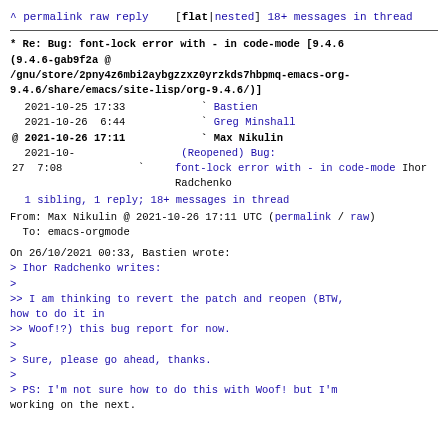^ permalink raw reply    [flat|nested] 18+ messages in thread
* Re: Bug: font-lock error with - in code-mode [9.4.6 (9.4.6-gab9f2a @ /gnu/store/2pny4z6mbi2aybgzzxz0yrzkds7hbpmq-emacs-org-9.4.6/share/emacs/site-lisp/org-9.4.6/)]
2021-10-25 17:33                  ` Bastien
2021-10-26  6:44                  ` Greg Minshall
@ 2021-10-26 17:11                  ` Max Nikulin
  2021-10-27  7:08                  ` (Reopened) Bug: font-lock error with - in code-mode Ihor Radchenko
  1 sibling, 1 reply; 18+ messages in thread
From: Max Nikulin @ 2021-10-26 17:11 UTC (permalink / raw)
  To: emacs-orgmode
On 26/10/2021 00:33, Bastien wrote:
> Ihor Radchenko writes:
>
>> I am thinking to revert the patch and reopen (BTW, how to do it in
>> Woof!?) this bug report for now.
>
> Sure, please go ahead, thanks.
>
> PS: I'm not sure how to do this with Woof! but I'm
working on the next.